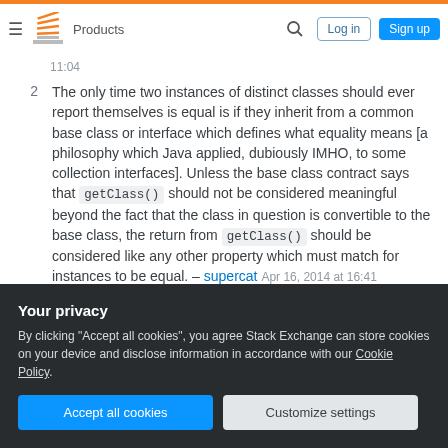≡  [Stack Overflow logo]  Products  🔍  Log in  Sign up
11:04
The only time two instances of distinct classes should ever report themselves is equal is if they inherit from a common base class or interface which defines what equality means [a philosophy which Java applied, dubiously IMHO, to some collection interfaces]. Unless the base class contract says that getClass() should not be considered meaningful beyond the fact that the class in question is convertible to the base class, the return from getClass() should be considered like any other property which must match for instances to be equal. – supercat Apr 16, 2014 at 16:41
Your privacy
By clicking "Accept all cookies", you agree Stack Exchange can store cookies on your device and disclose information in accordance with our Cookie Policy.
Accept all cookies    Customize settings